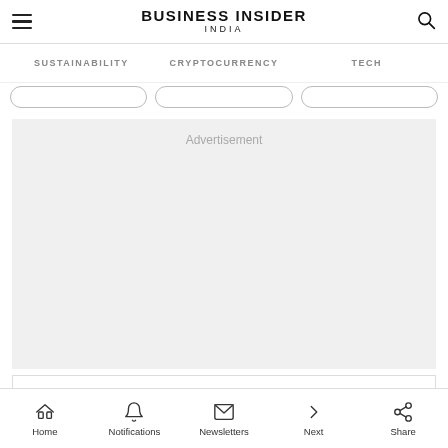BUSINESS INSIDER INDIA
SUSTAINABILITY   CRYPTOCURRENCY   TECH
[Figure (other): Advertisement placeholder area with grey background]
[Figure (other): Mattress Firm ad: Sterling OPEN | 10AM-6PM, 46301 Potomac Run Plaza, Suite 190, St]
Home   Notifications   Newsletters   Next   Share